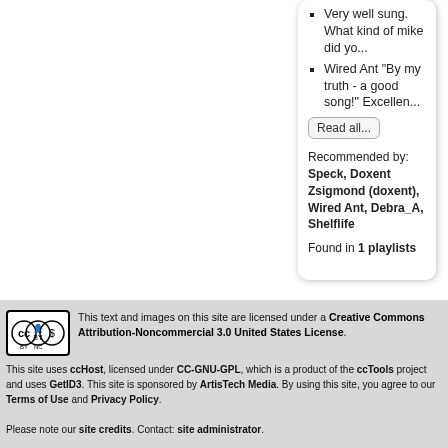Very well sung. What kind of mike did yo...
Wired Ant "By my truth - a good song!" Excellen...
Read all...
Recommended by: Speck, Doxent Zsigmond (doxent), Wired Ant, Debra_A, Shelflife
Found in 1 playlists
[Figure (logo): Creative Commons BY-NC license badge]
This text and images on this site are licensed under a Creative Commons Attribution-Noncommercial 3.0 United States License.
This site uses ccHost, licensed under CC-GNU-GPL, which is a product of the ccTools project and uses GetID3. This site is sponsored by ArtisTech Media. By using this site, you agree to our Terms of Use and Privacy Policy.

Please note our site credits. Contact: site administrator.